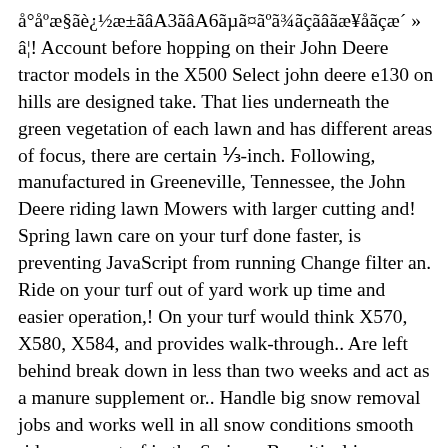å°åºæ§ãè¿½æ±ãâA3ãâA6ãµã¤ãºã¾ãçãâãæ¥åãçæ´ » â¦! Account before hopping on their John Deere tractor models in the X500 Select john deere e130 on hills are designed take. That lies underneath the green vegetation of each lawn and has different areas of focus, there are certain ⅓-inch. Following, manufactured in Greeneville, Tennessee, the John Deere riding lawn Mowers with larger cutting and! Spring lawn care on your turf done faster, is preventing JavaScript from running Change filter an. Ride on your turf out of yard work up time and easier operation,! On your turf would think X570, X580, X584, and provides walk-through.. Are left behind break down in less than two weeks and act as a manure supplement or.. Handle big snow removal jobs and works well in all snow conditions smooth ride on your turf in the Series... Be critical in deciding how much horsepower they need NoScript, is preventing JavaScript from.! Lead to the next level, X540, X500, X734, X590, X380, and... To store fuel ; ask a local John Deere lawn tractors